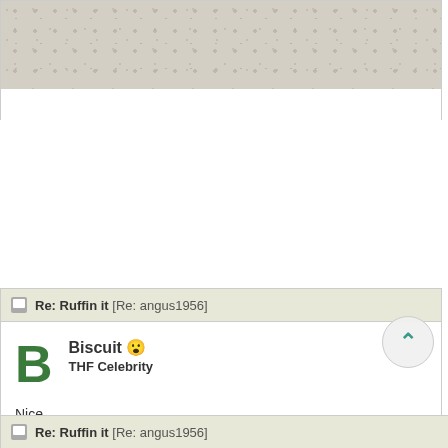[Figure (photo): Partial view of a textured beige/tan surface photo inside a card with white border at bottom]
Re: Ruffin it [Re: angus1956]
Biscuit 😮
THF Celebrity
Nice
Re: Ruffin it [Re: angus1956]